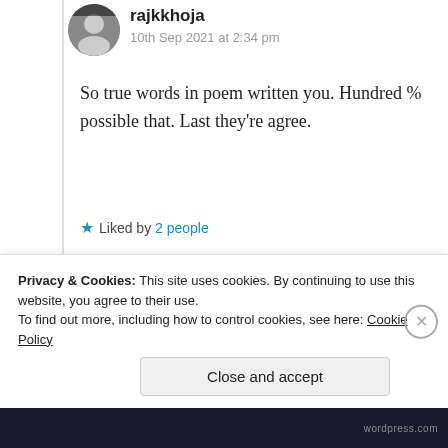rajkkhoja
10th Sep 2021 at 2:34 pm
So true words in poem written you. Hundred % possible that. Last they’re agree.
★ Liked by 2 people
Log in to Reply
Suma Reddy
Privacy & Cookies: This site uses cookies. By continuing to use this website, you agree to their use.
To find out more, including how to control cookies, see here: Cookie Policy
Close and accept